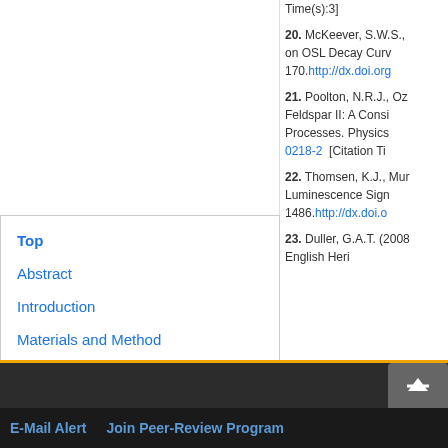Time(s):3]
20. McKeever, S.W.S., ... on OSL Decay Curv... 170.http://dx.doi.org...
21. Poolton, N.R.J., Oz... Feldspar II: A Consi... Processes. Physics... 0218-2  [Citation Ti...
22. Thomsen, K.J., Mur... Luminescence Sigm... 1486.http://dx.doi.o...
23. Duller, G.A.T. (2008... English Heri...
Top
Abstract
Introduction
Materials and Method
Results and Discussion
Conclusion
E-Mail Alert   Join Peer-Review Program
Hom...